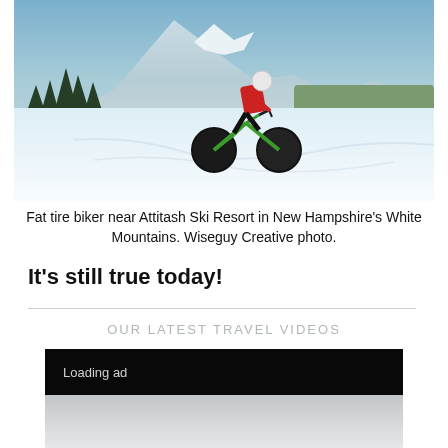[Figure (photo): Fat tire biker riding on a snowy trail near Attitash Ski Resort in New Hampshire's White Mountains. Rider wears a red jacket, black pants, and white helmet on a green fat tire bike. Snowy landscape with pine trees and mountains in background.]
Fat tire biker near Attitash Ski Resort in New Hampshire's White Mountains. Wiseguy Creative photo.
It's still true today!
OUR LATEST TRAVEL VIDEOS
Loading ad